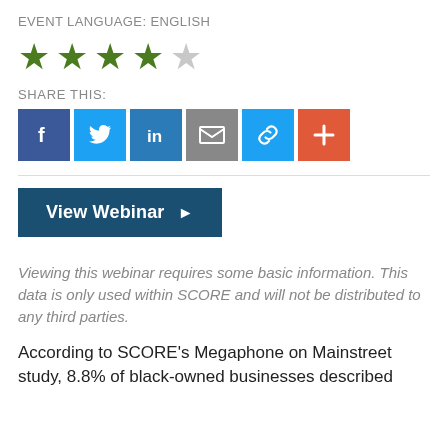EVENT LANGUAGE: English
[Figure (other): Star rating: 4 out of 5 stars (4 filled green stars, 1 empty gray star)]
SHARE THIS:
[Figure (other): Social share buttons: Facebook (blue), Twitter (light blue), LinkedIn (blue), Email (gray), Link (light blue), Plus/More (orange-red)]
[Figure (other): View Webinar button (dark navy blue with right-pointing triangle arrow)]
Viewing this webinar requires some basic information. This data is only used within SCORE and will not be distributed to any third parties.
According to SCORE's Megaphone on Mainstreet study, 8.8% of black-owned businesses described